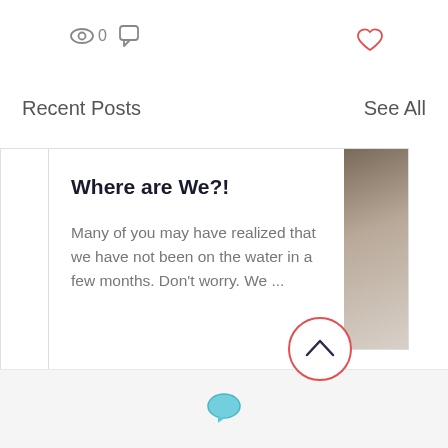[Figure (screenshot): Top bar with eye icon showing 0 views, chat bubble icon, and red heart icon on the right]
Recent Posts
See All
[Figure (screenshot): Blog post card with title 'Where are We?!' and preview text. Shows 10 views, 0 comments, heart like button. A circular scroll-up arrow button overlaps the card. A partial image card appears to the right.]
[Figure (screenshot): Bottom navigation bar with blue chat/message icon in the center]